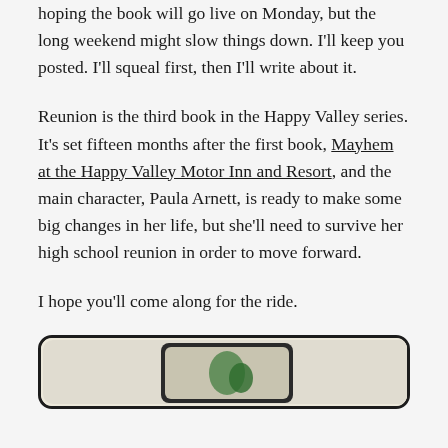hoping the book will go live on Monday, but the long weekend might slow things down. I'll keep you posted. I'll squeal first, then I'll write about it.
Reunion is the third book in the Happy Valley series. It's set fifteen months after the first book, Mayhem at the Happy Valley Motor Inn and Resort, and the main character, Paula Arnett, is ready to make some big changes in her life, but she'll need to survive her high school reunion in order to move forward.
I hope you'll come along for the ride.
[Figure (photo): Partially visible image at bottom of page, appears to be a book cover or graphic with a dark rounded rectangle border on a light beige/tan background]